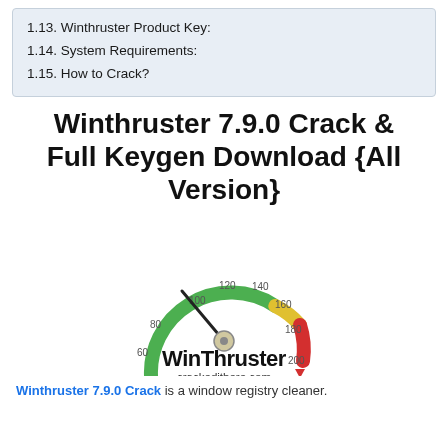1.13. Winthruster Product Key:
1.14. System Requirements:
1.15. How to Crack?
Winthruster 7.9.0 Crack & Full Keygen Download {All Version}
[Figure (illustration): WinThruster speedometer gauge graphic showing a dial/meter with color arc from green (low, ~40-100) to yellow (mid, ~100-160) to red (high, ~160-200), needle pointing to around 100. Below the gauge is the bold text 'WinThruster' with green and red arrow markers, and 'crackedithere.com' below that.]
Winthruster 7.9.0 Crack is a window registry cleaner.